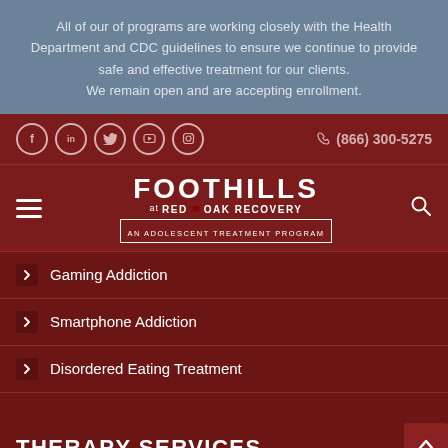All of our of programs are working closely with the Health Department and CDC guidelines to ensure we continue to provide safe and effective treatment for our clients. We remain open and are accepting enrollment.
(866) 300-5275
[Figure (logo): Foothills at Red Oak Recovery - An Adolescent Treatment Program logo]
Gaming Addiction
Smartphone Addiction
Disordered Eating Treatment
THERAPY SERVICES